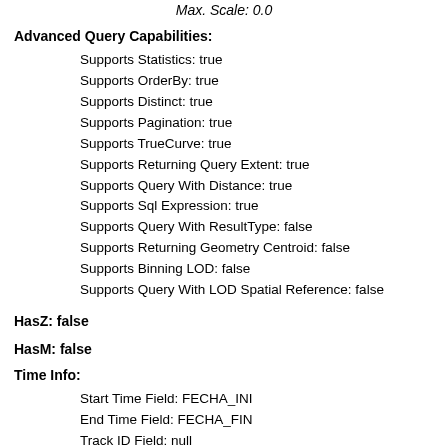Max. Scale: 0.0
Advanced Query Capabilities:
Supports Statistics: true
Supports OrderBy: true
Supports Distinct: true
Supports Pagination: true
Supports TrueCurve: true
Supports Returning Query Extent: true
Supports Query With Distance: true
Supports Sql Expression: true
Supports Query With ResultType: false
Supports Returning Geometry Centroid: false
Supports Binning LOD: false
Supports Query With LOD Spatial Reference: false
HasZ: false
HasM: false
Time Info:
Start Time Field: FECHA_INI
End Time Field: FECHA_FIN
Track ID Field: null
Time Extent:
[2012/01/01 00:00:00 UTC, 2018/12/31 00:00:00 UTC]